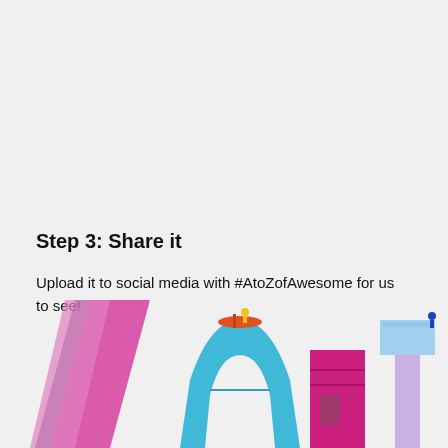Step 3: Share it
Upload it to social media with #AtoZofAwesome for us to see!
[Figure (photo): Colorful LEGO letter sculptures at the bottom of the page: a pink diagonal letter, a blue arch-shaped letter with a yellow figure on a red boat on top, a pink/magenta letter with a door, and a blue/white cross or T-shape with a small blue figure on top.]